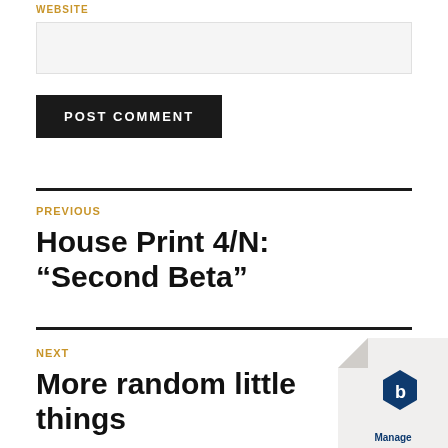WEBSITE
POST COMMENT
PREVIOUS
House Print 4/N: “Second Beta”
NEXT
More random little things
[Figure (logo): Manage badge/logo in bottom right corner]